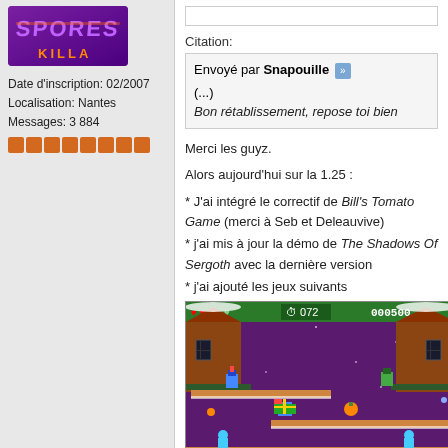[Figure (illustration): Forum user avatar with purple/violet graffiti-style logo with text 'KILLA']
Date d'inscription: 02/2007
Localisation: Nantes
Messages: 3 884
[Figure (illustration): Row of 8 orange/brown square rating stars]
Citation:
Envoyé par Snapouille >>
(...)
Bon rétablissement, repose toi bien
Merci les guyz.
Alors aujourd'hui sur la 1.25 :
* J'ai intégré le correctif de Bill's Tomato Game (merci à Seb et Deleauvive)
* j'ai mis à jour la démo de The Shadows Of Sergoth avec la dernière version
* j'ai ajouté les jeux suivants
[Figure (screenshot): Retro pixel-art platformer game screenshot with Christmas theme, showing characters on snowy platforms with decorations, HUD showing hearts, timer 072 and score 000500]